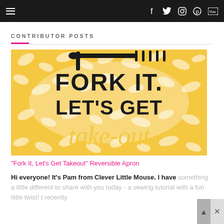Navigation bar with hamburger menu and social icons: f (Facebook), Twitter, Instagram, Pinterest, YouTube
CONTRIBUTOR POSTS
[Figure (photo): Decorative apron with golden floral pattern and bold text reading 'FORK IT. LET'S GET take-out' with a fork silhouette at the top]
"Fork It, Let's Get Takeout" Reversible Apron
Hi everyone! It's Pam from Clever Little Mouse. I have something a little different to share with you today - a sewing tutorial with a fun little twist! I recently